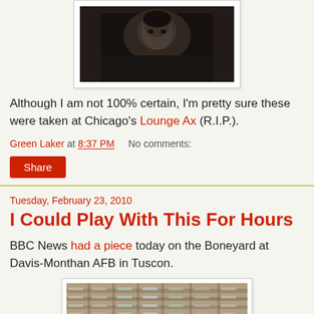[Figure (photo): Black and white photo of a person, partially visible at the top of the page, in a white frame.]
Although I am not 100% certain, I'm pretty sure these were taken at Chicago's Lounge Ax (R.I.P.).
Green Laker at 8:37 PM    No comments:
Share
Tuesday, February 23, 2010
I Could Play With This For Hours
BBC News had a piece today on the Boneyard at Davis-Monthan AFB in Tuscon.
[Figure (photo): Aerial photograph of the Davis-Monthan AFB Boneyard showing rows of retired aircraft.]